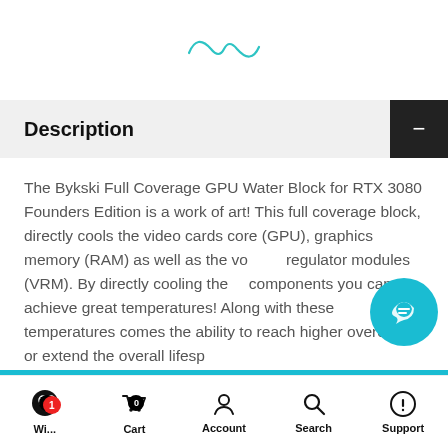[Figure (logo): Infinity/wave logo in teal/cyan color]
Description
The Bykski Full Coverage GPU Water Block for RTX 3080 Founders Edition is a work of art! This full coverage block, directly cools the video cards core (GPU), graphics memory (RAM) as well as the voltage regulator modules (VRM). By directly cooling these components you can achieve great temperatures! Along with these temperatures comes the ability to reach higher overclocks or extend the overall lifespan of your video card.
Wi... 0 | Cart 0 | Account | Search | Support